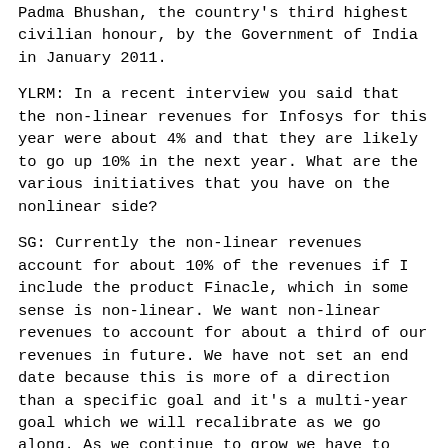Padma Bhushan, the country's third highest civilian honour, by the Government of India in January 2011.
YLRM: In a recent interview you said that the non-linear revenues for Infosys for this year were about 4% and that they are likely to go up 10% in the next year. What are the various initiatives that you have on the nonlinear side?
SG: Currently the non-linear revenues account for about 10% of the revenues if I include the product Finacle, which in some sense is non-linear. We want non-linear revenues to account for about a third of our revenues in future. We have not set an end date because this is more of a direction than a specific goal and it's a multi-year goal which we will recalibrate as we go along. As we continue to grow we have to look at a mechanism by which we can create a discontinuity between the number of people we employ and the corresponding revenue we get. Non-linear growth is one such mechanism and there are multiple ways in which we can do it. First of all there is a technology trend around cloud computing and IT businesses appear geared to be moving in that direction. By